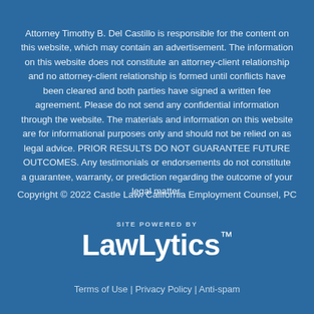Attorney Timothy B. Del Castillo is responsible for the content on this website, which may contain an advertisement. The information on this website does not constitute an attorney-client relationship and no attorney-client relationship is formed until conflicts have been cleared and both parties have signed a written fee agreement. Please do not send any confidential information through the website. The materials and information on this website are for informational purposes only and should not be relied on as legal advice. PRIOR RESULTS DO NOT GUARANTEE FUTURE OUTCOMES. Any testimonials or endorsements do not constitute a guarantee, warranty, or prediction regarding the outcome of your legal matter.
Copyright © 2022 Castle Law: California Employment Counsel, PC
[Figure (logo): LawLytics logo with 'SITE POWERED BY' label above in small caps]
Terms of Use | Privacy Policy | Anti-spam